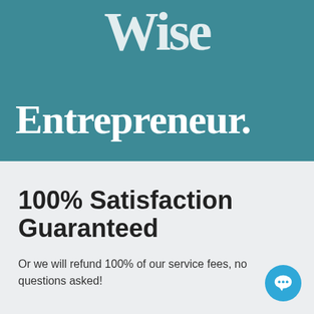[Figure (logo): Wise Entrepreneur logo on teal/blue-green background. Large serif text partially cropped at top showing 'Wise' and below it 'Entrepreneur.' in large white serif font.]
100% Satisfaction Guaranteed
Or we will refund 100% of our service fees, no questions asked!